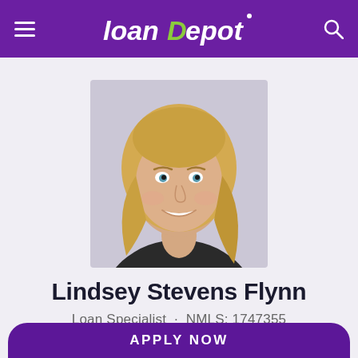loanDepot
[Figure (photo): Professional headshot of Lindsey Stevens Flynn, a woman with long blonde hair, smiling, wearing a dark top against a light gray background.]
Lindsey Stevens Flynn
Loan Specialist · NMLS: 1747355
APPLY NOW